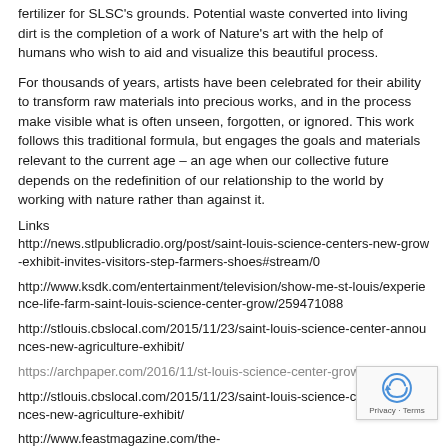fertilizer for SLSC's grounds. Potential waste converted into living dirt is the completion of a work of Nature's art with the help of humans who wish to aid and visualize this beautiful process.
For thousands of years, artists have been celebrated for their ability to transform raw materials into precious works, and in the process make visible what is often unseen, forgotten, or ignored. This work follows this traditional formula, but engages the goals and materials relevant to the current age – an age when our collective future depends on the redefinition of our relationship to the world by working with nature rather than against it.
Links
http://news.stlpublicradio.org/post/saint-louis-science-centers-new-grow-exhibit-invites-visitors-step-farmers-shoes#stream/0
http://www.ksdk.com/entertainment/television/show-me-st-louis/experience-life-farm-saint-louis-science-center-grow/259471088
http://stlouis.cbslocal.com/2015/11/23/saint-louis-science-center-announces-new-agriculture-exhibit/
https://archpaper.com/2016/11/st-louis-science-center-grow-pavilion/
http://stlouis.cbslocal.com/2015/11/23/saint-louis-science-center-announces-new-agriculture-exhibit/
http://www.feastmagazine.com/the-